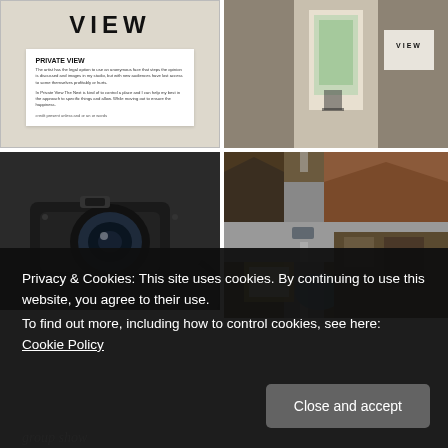[Figure (photo): Close-up of a printed sign showing 'VIEW' in large letters, with 'PRIVATE VIEW' heading and body text below, displayed against a beige/cream background]
[Figure (photo): Interior hallway or corridor photo with natural light coming through a window, plastic sheeting visible, leading to a room with a 'VIEW' sign visible]
[Figure (photo): Close-up macro photo of a camera or video camera lens/body in black, dark mechanical detail]
[Figure (photo): Aerial or overhead view of a miniature model or real town scene showing rooftops, streets, a picture frame, and blue circular element]
Privacy & Cookies: This site uses cookies. By continuing to use this website, you agree to their use.
To find out more, including how to control cookies, see here: Cookie Policy
Close and accept
group show